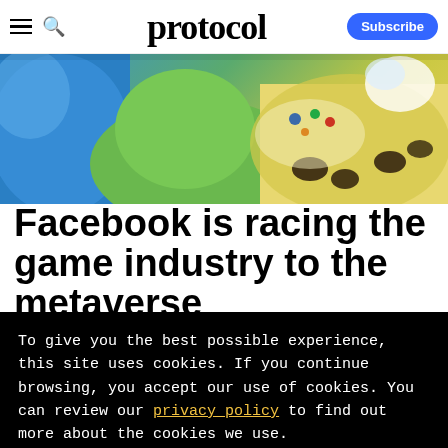protocol — Subscribe
[Figure (illustration): Hero image showing colorful 3D rendered characters or avatars in a metaverse/game environment with blue, green, and yellow tones.]
Facebook is racing the game industry to the metaverse
To give you the best possible experience, this site uses cookies. If you continue browsing, you accept our use of cookies. You can review our privacy policy to find out more about the cookies we use.
Accept